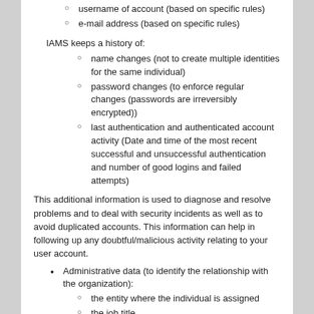username of account (based on specific rules)
e-mail address (based on specific rules)
IAMS keeps a history of:
name changes (not to create multiple identities for the same individual)
password changes (to enforce regular changes (passwords are irreversibly encrypted))
last authentication and authenticated account activity (Date and time of the most recent successful and unsuccessful authentication and number of good logins and failed attempts)
This additional information is used to diagnose and resolve problems and to deal with security incidents as well as to avoid duplicated accounts. This information can help in following up any doubtful/malicious activity relating to your user account.
Administrative data (to identify the relationship with the organization):
the entity where the individual is assigned
the job title
the job status
information related to the start and end of the contract